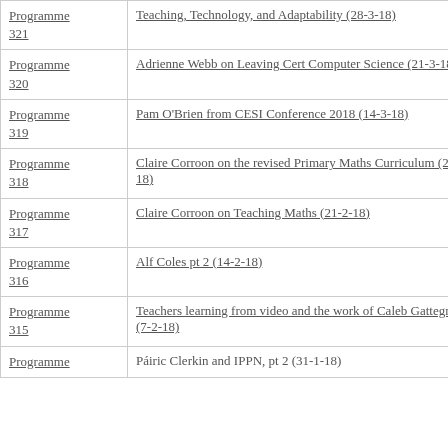| Programme
321 | Teaching, Technology, and Adaptability (28-3-18) |
| Programme
320 | Adrienne Webb on Leaving Cert Computer Science (21-3-18) |
| Programme
319 | Pam O'Brien from CESI Conference 2018 (14-3-18) |
| Programme
318 | Claire Corroon on the revised Primary Maths Curriculum (28-2-18) |
| Programme
317 | Claire Corroon on Teaching Maths (21-2-18) |
| Programme
316 | Alf Coles pt 2 (14-2-18) |
| Programme
315 | Teachers learning from video and the work of Caleb Gattegno (7-2-18) |
| Programme
... | Páiric Clerkin and IPPN, pt 2 (31-1-18) |